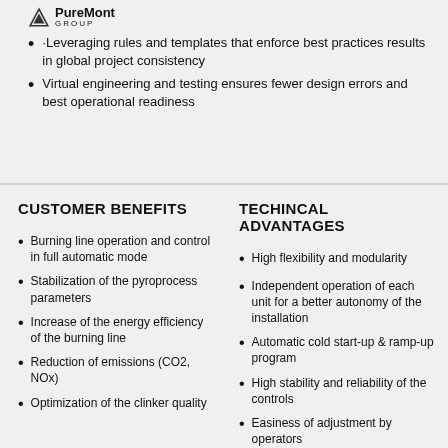PureMont GROUP
·Leveraging rules and templates that enforce best practices results in global project consistency
Virtual engineering and testing ensures fewer design errors and best operational readiness
CUSTOMER BENEFITS
TECHINCAL ADVANTAGES
Burning line operation and control in full automatic mode
Stabilization of the pyroprocess parameters
Increase of the energy efficiency of the burning line
Reduction of emissions (CO2, NOx)
Optimization of the clinker quality
High flexibility and modularity
Independent operation of each unit for a better autonomy of the installation
Automatic cold start-up & ramp-up program
High stability and reliability of the controls
Easiness of adjustment by operators